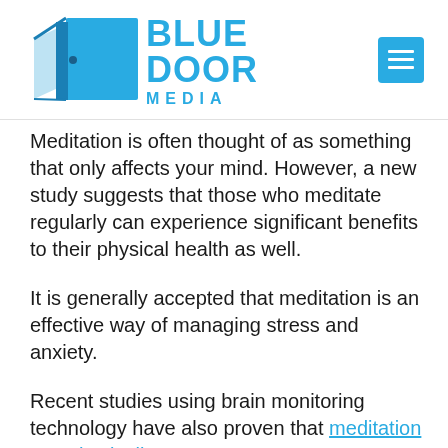[Figure (logo): Blue Door Media logo with blue door icon and text 'BLUE DOOR MEDIA' in blue]
Meditation is often thought of as something that only affects your mind. However, a new study suggests that those who meditate regularly can experience significant benefits to their physical health as well.
It is generally accepted that meditation is an effective way of managing stress and anxiety.
Recent studies using brain monitoring technology have also proven that meditation can physically